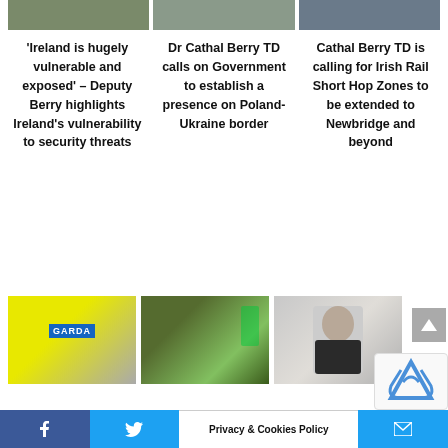[Figure (photo): Three news article thumbnail images at top of page]
'Ireland is hugely vulnerable and exposed' – Deputy Berry highlights Ireland's vulnerability to security threats
Dr Cathal Berry TD calls on Government to establish a presence on Poland-Ukraine border
Cathal Berry TD is calling for Irish Rail Short Hop Zones to be extended to Newbridge and beyond
[Figure (photo): Garda officer in hi-vis vest]
[Figure (photo): Soldiers in camouflage with green smoke]
[Figure (photo): Man (Cathal Berry TD) in video still]
Privacy & Cookies Policy